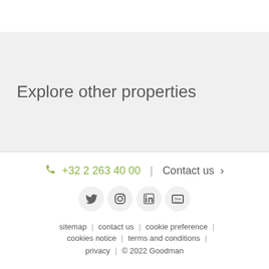Explore other properties
☎ +32 2 263 40 00  |  Contact us ›
[Figure (other): Social media icons: Twitter, Instagram, LinkedIn, YouTube]
sitemap  |  contact us  |  cookie preference  |  cookies notice  |  terms and conditions  |  privacy  |  © 2022 Goodman